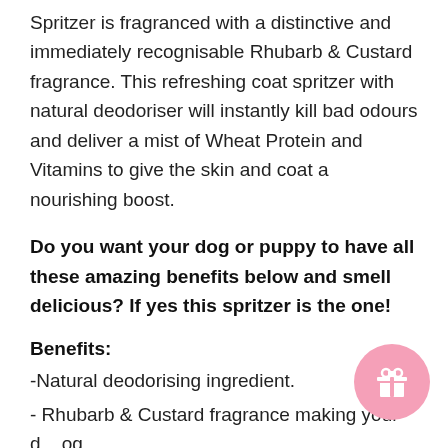Spritzer is fragranced with a distinctive and immediately recognisable Rhubarb & Custard fragrance. This refreshing coat spritzer with natural deodoriser will instantly kill bad odours and deliver a mist of Wheat Protein and Vitamins to give the skin and coat a nourishing boost.
Do you want your dog or puppy to have all these amazing benefits below and smell delicious? If yes this spritzer is the one!
Benefits:
-Natural deodorising ingredient.
- Rhubarb & Custard fragrance making your dog smell amazing.
- Colour free.
- Free from animal derived ingredients...